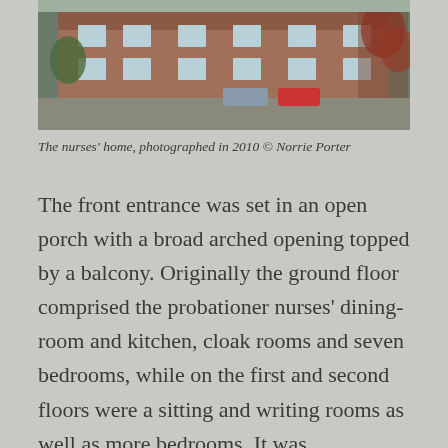[Figure (photo): Photograph of a red-brick nurses' home building with cars parked outside, trees and ivy visible, taken in 2010.]
The nurses' home, photographed in 2010 © Norrie Porter
The front entrance was set in an open porch with a broad arched opening topped by a balcony. Originally the ground floor comprised the probationer nurses' dining-room and kitchen, cloak rooms and seven bedrooms, while on the first and second floors were a sitting and writing rooms as well as more bedrooms. It was 'sumptuously furnished' and provided accommodation for